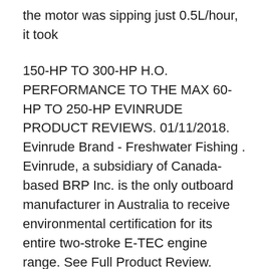the motor was sipping just 0.5L/hour, it took
150-HP TO 300-HP H.O. PERFORMANCE TO THE MAX 60-HP TO 250-HP EVINRUDE PRODUCT REVIEWS. 01/11/2018. Evinrude Brand - Freshwater Fishing . Evinrude, a subsidiary of Canada-based BRP Inc. is the only outboard manufacturer in Australia to receive environmental certification for its entire two-stroke E-TEC engine range. See Full Product Review. Read More 01/08/2018. BRP Marine Group … Hello, I am going to vent a bit here as i am entirely discusted with evinrude and honestly could be something i should tell...